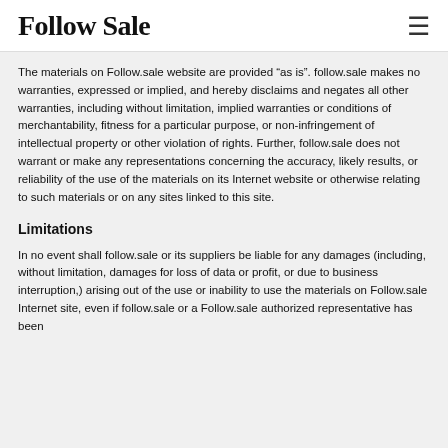Follow Sale
The materials on Follow.sale website are provided “as is”. follow.sale makes no warranties, expressed or implied, and hereby disclaims and negates all other warranties, including without limitation, implied warranties or conditions of merchantability, fitness for a particular purpose, or non-infringement of intellectual property or other violation of rights. Further, follow.sale does not warrant or make any representations concerning the accuracy, likely results, or reliability of the use of the materials on its Internet website or otherwise relating to such materials or on any sites linked to this site.
Limitations
In no event shall follow.sale or its suppliers be liable for any damages (including, without limitation, damages for loss of data or profit, or due to business interruption,) arising out of the use or inability to use the materials on Follow.sale Internet site, even if follow.sale or a Follow.sale authorized representative has been